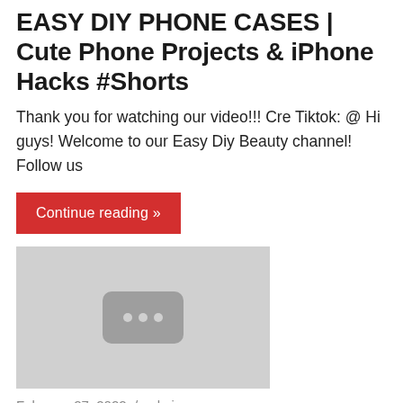EASY DIY PHONE CASES | Cute Phone Projects & iPhone Hacks #Shorts
Thank you for watching our video!!! Cre Tiktok: @ Hi guys! Welcome to our Easy Diy Beauty channel! Follow us
Continue reading »
[Figure (photo): Gray thumbnail placeholder with three dots icon]
February 27, 2022  /  admin
EASY DIY PHONE CASES | Cute Phone Projects & iPhone Hacks #Shorts
Thank you for watching our video!!! 🎬Cre Tiktok: @ Hi